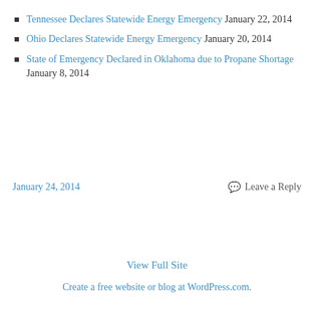Tennessee Declares Statewide Energy Emergency January 22, 2014
Ohio Declares Statewide Energy Emergency January 20, 2014
State of Emergency Declared in Oklahoma due to Propane Shortage January 8, 2014
January 24, 2014
Leave a Reply
View Full Site
Create a free website or blog at WordPress.com.